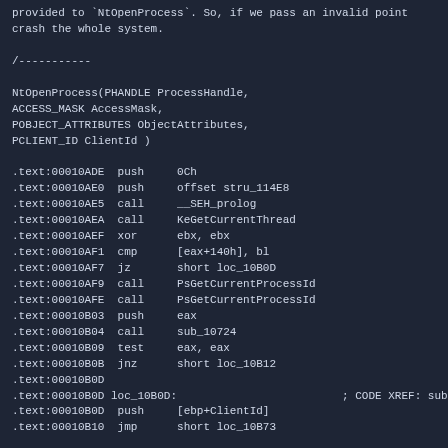provided to `NtOpenProcess`. So, if we pass an invalid point crash the whole system.
/-----------

NtOpenProcess(PHANDLE ProcessHandle,
ACCESS_MASK AccessMask,
POBJECT_ATTRIBUTES ObjectAttributes,
PCLIENT_ID ClientId )

.text:00010ADE  push     0Ch
.text:00010AE0  push     offset stru_114E8
.text:00010AE5  call     __SEH_prolog
.text:00010AEA  call     KeGetCurrentThread
.text:00010AEF  xor      ebx, ebx
.text:00010AF1  cmp      [eax+140h], bl
.text:00010AF7  jz       short loc_10B0D
.text:00010AF9  call     PsGetCurrentProcessId
.text:00010AFE  call     PsGetCurrentProcessId
.text:00010B03  push     eax
.text:00010B04  call     sub_10724
.text:00010B09  test     eax, eax
.text:00010B0B  jnz      short loc_10B12
.text:00010B0D
.text:00010B0D loc_10B0D:                         ; CODE XREF: sub
.text:00010B0D  push     [ebp+ClientId]
.text:00010B10  jmp      short loc_10B73

.text:00010B12
.text:00010B12 loc_10B12:                         ; CODE XREF: sub
.text:00010B12  mov      edi, [ebp+ClientId]
.text:00010B15  cmp      edi, ebx                   ; Little check t
Null_Pointer